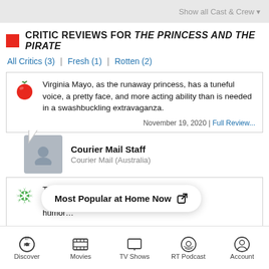Show all Cast & Crew
CRITIC REVIEWS FOR THE PRINCESS AND THE PIRATE
All Critics (3) | Fresh (1) | Rotten (2)
Virginia Mayo, as the runaway princess, has a tuneful voice, a pretty face, and more acting ability than is needed in a swashbuckling extravaganza. November 19, 2020 | Full Review...
Courier Mail Staff
Courier Mail (Australia)
The Prin... entirely depende... ...cific brand of humor...
Most Popular at Home Now
Discover | Movies | TV Shows | RT Podcast | Account